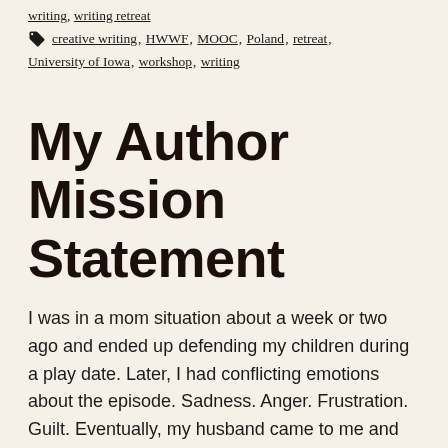writing, writing retreat
🏷 creative writing, HWWF, MOOC, Poland, retreat, University of Iowa, workshop, writing
My Author Mission Statement
I was in a mom situation about a week or two ago and ended up defending my children during a play date. Later, I had conflicting emotions about the episode. Sadness. Anger. Frustration. Guilt. Eventually, my husband came to me and said I should never feel guilty for being the champion our children need at